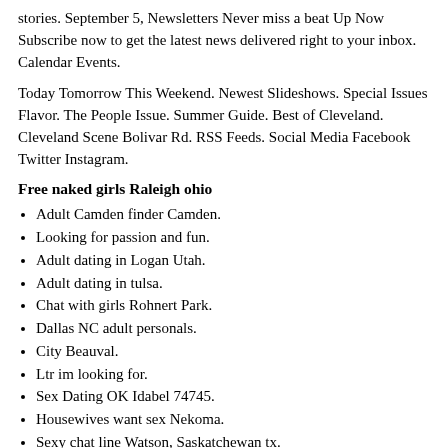stories. September 5, Newsletters Never miss a beat Up Now Subscribe now to get the latest news delivered right to your inbox. Calendar Events.
Today Tomorrow This Weekend. Newest Slideshows. Special Issues Flavor. The People Issue. Summer Guide. Best of Cleveland. Cleveland Scene Bolivar Rd. RSS Feeds. Social Media Facebook Twitter Instagram.
Free naked girls Raleigh ohio
Adult Camden finder Camden.
Looking for passion and fun.
Adult dating in Logan Utah.
Adult dating in tulsa.
Chat with girls Rohnert Park.
Dallas NC adult personals.
City Beauval.
Ltr im looking for.
Sex Dating OK Idabel 74745.
Housewives want sex Nekoma.
Sexy chat line Watson, Saskatchewan tx.
Horny girls warrington.
Love in privett.
Housewives seeking nsa Palmyra Missouri 63461.
Richardson woman to fuck.